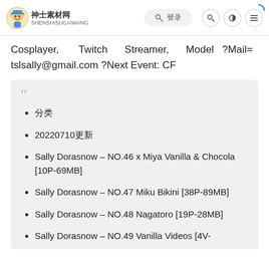神士素材网 SHENSHISUCAIWANG — navigation bar with login, search, theme, menu icons
Cosplayer, Twitch Streamer, Model ?Mail= tslsally@gmail.com ?Next Event: CF
分类
20220710更新
Sally Dorasnow – NO.46 x Miya Vanilla & Chocola [10P-69MB]
Sally Dorasnow – NO.47 Miku Bikini [38P-89MB]
Sally Dorasnow – NO.48 Nagatoro [19P-28MB]
Sally Dorasnow – NO.49 Vanilla Videos [4V-